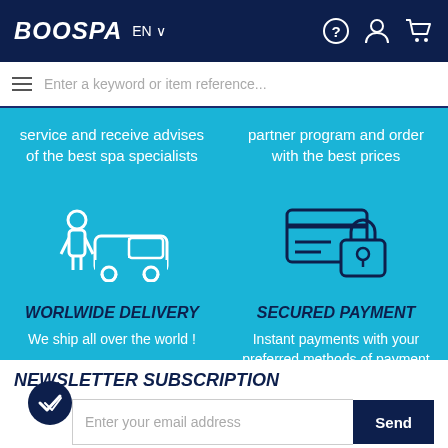BOOSPA EN
Enter a keyword or item reference...
service and receive advises of the best spa specialists
partner program and order with the best prices
[Figure (illustration): Delivery van with person icon (white outline on teal)]
[Figure (illustration): Secured payment credit card with padlock icon (dark outline on teal)]
WORLWIDE DELIVERY
We ship all over the world !
SECURED PAYMENT
Instant payments with your preferred methods of payment (CB, Paypal, Bank transfer, etc...
NEWSLETTER SUBSCRIPTION
Enter your email address
Send